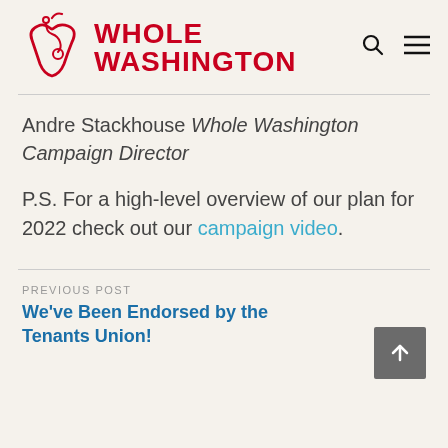[Figure (logo): Whole Washington logo: red apple with stethoscope and red bold text WHOLE WASHINGTON]
Andre Stackhouse Whole Washington Campaign Director
P.S. For a high-level overview of our plan for 2022 check out our campaign video.
PREVIOUS POST
We've Been Endorsed by the Tenants Union!